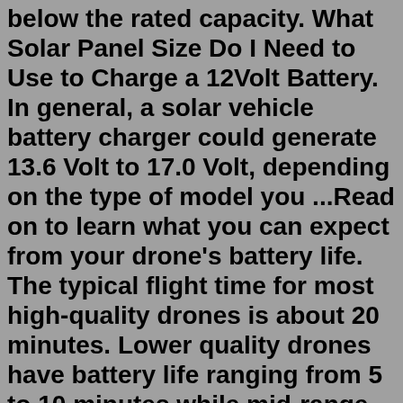below the rated capacity. What Solar Panel Size Do I Need to Use to Charge a 12Volt Battery. In general, a solar vehicle battery charger could generate 13.6 Volt to 17.0 Volt, depending on the type of model you ...Read on to learn what you can expect from your drone's battery life. The typical flight time for most high-quality drones is about 20 minutes. Lower quality drones have battery life ranging from 5 to 10 minutes while mid-range drones have flight time between 15 to 20 minutes. Professional drones have flight time between 20 to 30 minutes.Closest size is the G27 90Ah Battery. 2 years Warranty. 24-month shelf life without needing to refresh the battery. No Sulphation. 8-12 year service life, based on up to 30-50% daily discharge. Long lasting up to five times longer than AGM batteries at 50% DoD (depth of discharge) Full recovery after a deep discharge.Such a battery holds 1200Wh. These are 1200 watt-hours. We usually say that a 100Ah 12V battery holds 1200 watts. 1200 watt-hours mean that a battery can do any of the following: Produce 1200 watts of power for